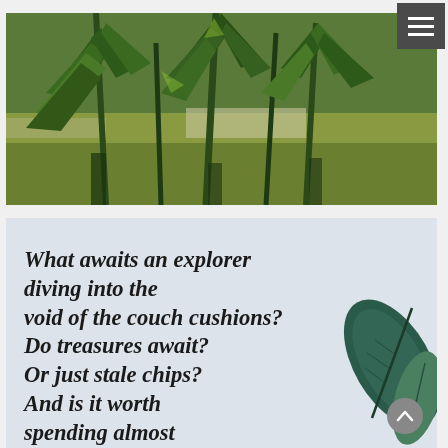[Figure (photo): Close-up photo of tall narrow green plant leaves (oleander or similar) with grass and a path visible in the background]
What awaits an explorer diving into the void of the couch cushions? Do treasures await? Or just stale chips? And is it worth spending almost an hour on?
[Figure (photo): Decorative dark green leaf/plant in the lower right corner of the quote image]